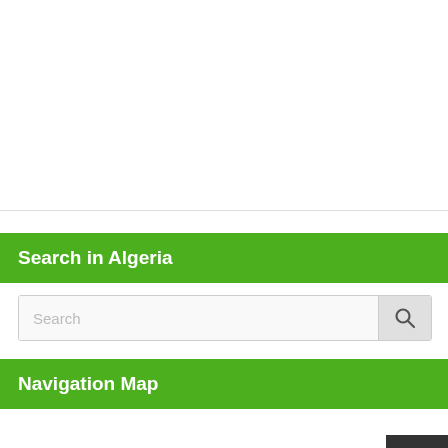[Figure (other): White blank area at the top of the page, likely a map or image placeholder]
Search in Algeria
[Figure (other): Search input box with a search icon button on the right]
Navigation Map
[Figure (other): White area at bottom with a dark scroll-to-top button in bottom-right corner showing an upward arrow]